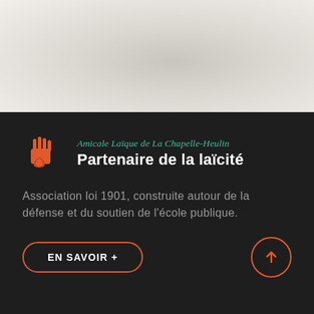[Figure (illustration): Light gray textured background area at the top of the page]
Amicale Laïque de La Chapelle-Heulin — Partenaire de la laïcité
Association loi 1901, construite autour de la défense et du soutien de l'école publique.
EN SAVOIR +